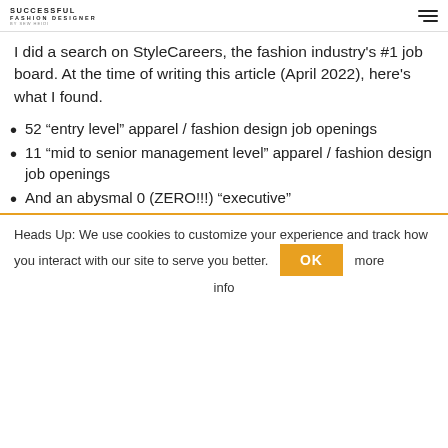SUCCESSFUL FASHION DESIGNER BY SEW HEIDI
I did a search on StyleCareers, the fashion industry's #1 job board. At the time of writing this article (April 2022), here's what I found.
52 “entry level” apparel / fashion design job openings
11 “mid to senior management level” apparel / fashion design job openings
And an abysmal 0 (ZERO!!!) “executive”
Heads Up: We use cookies to customize your experience and track how you interact with our site to serve you better.
OK
more info